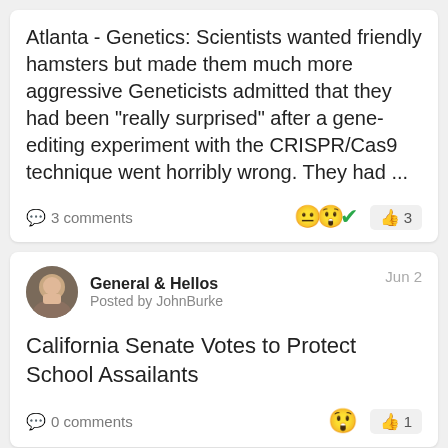Atlanta - Genetics: Scientists wanted friendly hamsters but made them much more aggressive Geneticists admitted that they had been "really surprised" after a gene-editing experiment with the CRISPR/Cas9 technique went horribly wrong. They had ...
3 comments
General & Hellos | Posted by JohnBurke | Jun 2
California Senate Votes to Protect School Assailants
0 comments
Posts | Posted by Krunasley | May 27